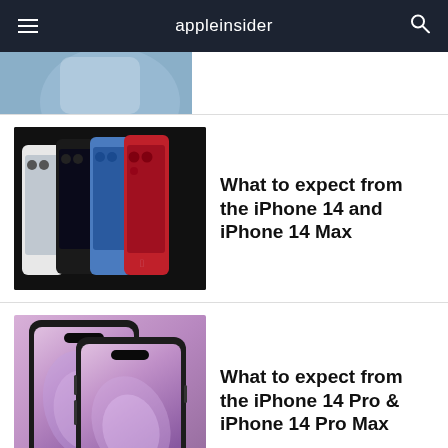appleinsider
[Figure (photo): Partial article thumbnail - cropped image of a blue device]
[Figure (photo): Multiple iPhone 14 models in various colors (white, black, blue, red) on dark background]
What to expect from the iPhone 14 and iPhone 14 Max
[Figure (photo): Two iPhone 14 Pro models in purple/deep purple on purple gradient background]
What to expect from the iPhone 14 Pro & iPhone 14 Pro Max
[Figure (other): Advertisement placeholder - light gray box]